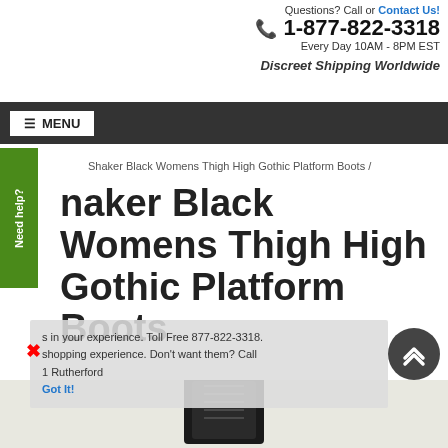Questions? Call or Contact Us! 1-877-822-3318 Every Day 10AM - 8PM EST
Discreet Shipping Worldwide
≡ MENU
Shaker Black Womens Thigh High Gothic Platform Boots /
Shaker Black Womens Thigh High Gothic Platform Boots
Shaker-375 is a wickedly cool black thigh high boot with lace up from a 4 1/2 inch wedge heel.
[Figure (photo): Bottom of product page showing partial boot image]